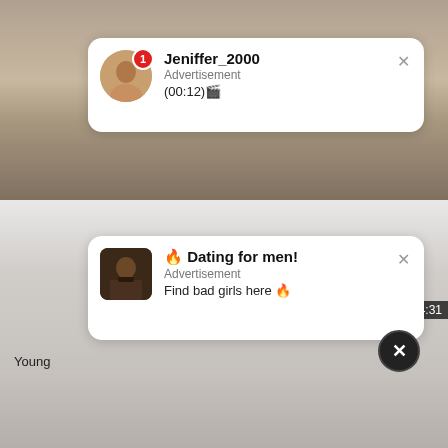[Figure (screenshot): Background showing adult content website with video thumbnails]
Jeniffer_2000
Advertisement
(00:12)🎬
🔥 Dating for men!
Advertisement
Find bad girls here 🔥
Young
4:31